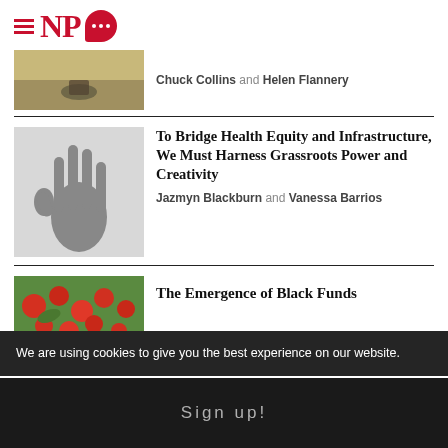NPQ
[Figure (photo): Partial top strip showing a wooden surface with a small animal]
Chuck Collins and Helen Flannery
[Figure (photo): Black and white photograph of a hand with fingers spread]
To Bridge Health Equity and Infrastructure, We Must Harness Grassroots Power and Creativity
Jazmyn Blackburn and Vanessa Barrios
[Figure (photo): Colorful photo of red flowers with green foliage]
The Emergence of Black Funds
We are using cookies to give you the best experience on our website.
Sign up!